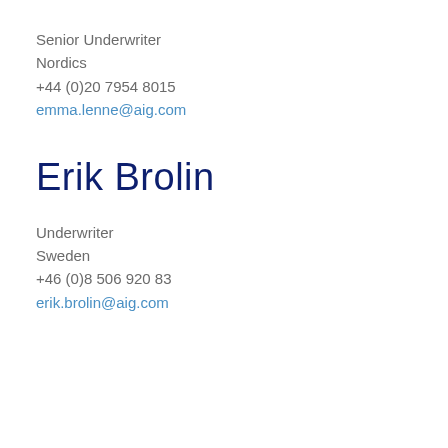Senior Underwriter
Nordics
+44 (0)20 7954 8015
emma.lenne@aig.com
Erik Brolin
Underwriter
Sweden
+46 (0)8 506 920 83
erik.brolin@aig.com